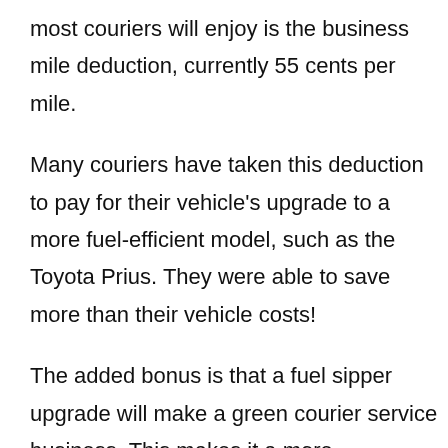most couriers will enjoy is the business mile deduction, currently 55 cents per mile.
Many couriers have taken this deduction to pay for their vehicle's upgrade to a more fuel-efficient model, such as the Toyota Prius. They were able to save more than their vehicle costs!
The added bonus is that a fuel sipper upgrade will make a green courier service business. This makes it a more environmentally friendly courier service company, which most customers love. Visit greendelivers.com to see an example of how powerful it can be.